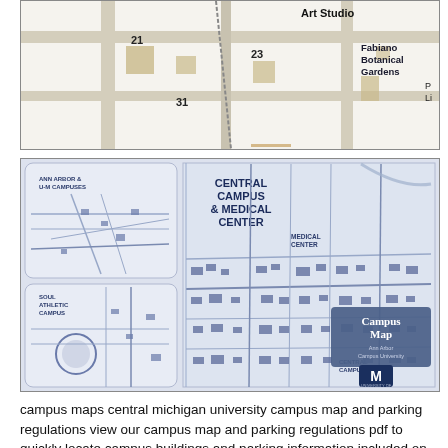[Figure (map): Partial campus map showing numbered buildings including 21, 23, 31, Art Studio label, and Fabiano Botanical Gardens label. Roads and building footprints visible on a beige/tan background.]
[Figure (map): University of Michigan Campus Map cover and overview map showing Central Campus & Medical Center, Ann Arbor & U-M Campuses inset, Soul Athletic Campus inset, Medical Center area, and Central Campus area. Blue and white color scheme with U-M block M logo.]
campus maps central michigan university campus map and parking regulations view our campus map and parking regulations pdf to quickly locate campus buildings and parking information included on